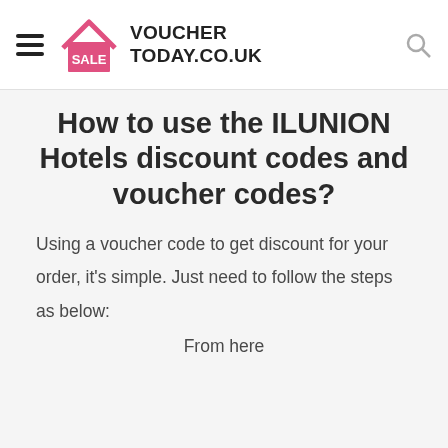VOUCHER TODAY.CO.UK
How to use the ILUNION Hotels discount codes and voucher codes?
Using a voucher code to get discount for your order, it's simple. Just need to follow the steps as below:
From here